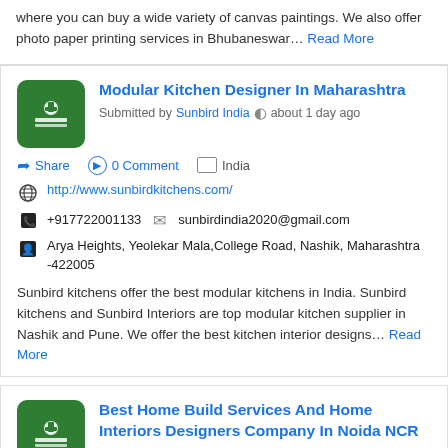where you can buy a wide variety of canvas paintings. We also offer photo paper printing services in Bhubaneswar… Read More
Modular Kitchen Designer In Maharashtra
Submitted by Sunbird India  about 1 day ago
Share  0 Comment  India
http://www.sunbirdkitchens.com/
+917722001133   sunbirdindia2020@gmail.com
Arya Heights, Yeolekar Mala,College Road, Nashik, Maharashtra -422005
Sunbird kitchens offer the best modular kitchens in India. Sunbird kitchens and Sunbird Interiors are top modular kitchen supplier in Nashik and Pune. We offer the best kitchen interior designs… Read More
Best Home Build Services And Home Interiors Designers Company In Noida NCR
Submitted by blue jadeitte construction  about 1 day ago